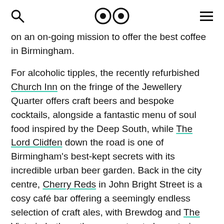search | logo eyes | menu
on an on-going mission to offer the best coffee in Birmingham.
For alcoholic tipples, the recently refurbished Church Inn on the fringe of the Jewellery Quarter offers craft beers and bespoke cocktails, alongside a fantastic menu of soul food inspired by the Deep South, while The Lord Clidfen down the road is one of Birmingham's best-kept secrets with its incredible urban beer garden. Back in the city centre, Cherry Reds in John Bright Street is a cosy café bar offering a seemingly endless selection of craft ales, with Brewdog and The Victoria both on the same street also catering for discerning